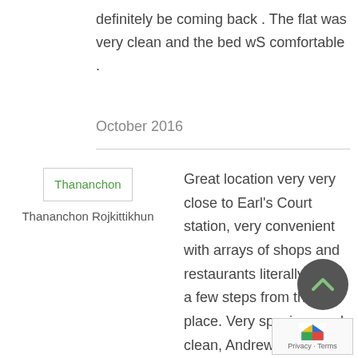definitely be coming back . The flat was very clean and the bed wS comfortable .
October 2016
[Figure (other): Profile image placeholder for Thananchon with green text label]
Thananchon Rojkittikhun
Great location very very close to Earl's Court station, very convenient with arrays of shops and restaurants literally within a few steps from the place. Very spacious and clean, Andrew and Maddy were very nice and helpful, great hosts. The apartment even has the manual for everything. Tiny suggestions, the water temperature in the shower room should be easy to adjust, for us it is either too hot